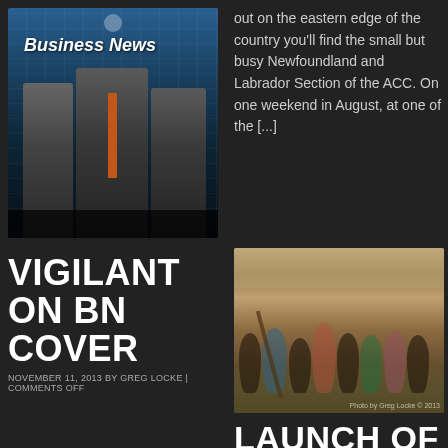[Figure (photo): Business News magazine cover showing three men in suits standing in front of a glass building]
out on the eastern edge of the country you'll find the small but busy Newfoundland and Labrador Section of the ACC. On one weekend in August, at one of the [...]
VIGILANT ON BN COVER
NOVEMBER 11, 2013 BY GREG LOCKE | COMMENTS OFF
[Figure (photo): Children playing outdoors in what appears to be an African setting, with one child holding a stick or pole]
LAUNCH OF FACTS &